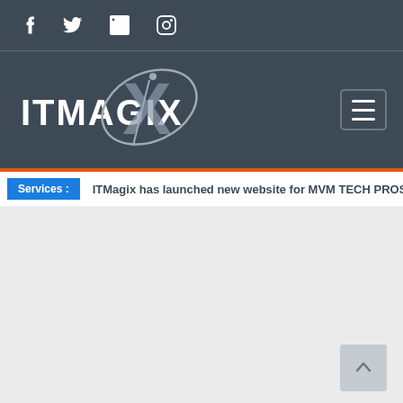Social media icons: f (Facebook), Twitter bird, in (LinkedIn), Instagram
[Figure (logo): ITMagix logo — white text ITMAGIX with a large stylized silver X and orbital arc graphic on dark blue-grey background, with hamburger menu button top right]
Services : ITMagix has launched new website for MVM TECH PROS